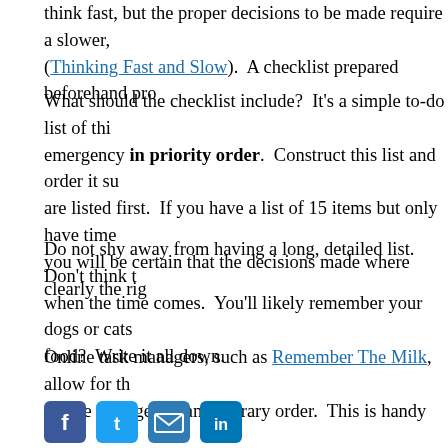think fast, but the proper decisions to be made require a slower, (Thinking Fast and Slow).  A checklist prepared beforehand pro…
What should the checklist include?  It's a simple to-do list of thi… emergency in priority order.  Construct this list and order it su… are listed first.  If you have a list of 15 items but only have time… you will be certain that the decisions made where clearly the rig…
Do not shy away from having a long, detailed list.  Don't think t… when the time comes.  You'll likely remember your dogs or cats… food?  Write it all down.
Online task managers, such as Remember The Milk, allow for th… can be arranged in an arbitrary order.  This is handy because yo… likely to change the more thought you put into things.  Once fin… out.  Place a couple of copies around the house to ensure that or… notice.
[Figure (other): Social media sharing icons: Facebook, Twitter, email, LinkedIn]